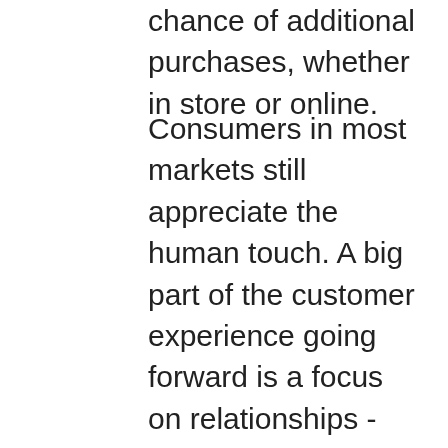chance of additional purchases, whether in store or online.
Consumers in most markets still appreciate the human touch. A big part of the customer experience going forward is a focus on relationships - the connection between the brand and shopper. This will help ensure the consumer keeps returning. Apple have brought this to the forefront of their physical store model with the Genius Bar, an additional service that keeps their customers returning to the stores. While online stores have livechat, this is not the same as speaking with someone face-to-face. Some brands however have made the mistake of thinking that if they have a good customer service programme, then they can charge a higher price for their products. This is not the